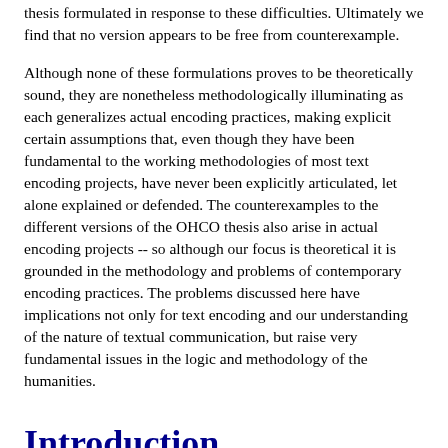thesis formulated in response to these difficulties. Ultimately we find that no version appears to be free from counterexample.
Although none of these formulations proves to be theoretically sound, they are nonetheless methodologically illuminating as each generalizes actual encoding practices, making explicit certain assumptions that, even though they have been fundamental to the working methodologies of most text encoding projects, have never been explicitly articulated, let alone explained or defended. The counterexamples to the different versions of the OHCO thesis also arise in actual encoding projects -- so although our focus is theoretical it is grounded in the methodology and problems of contemporary encoding practices. The problems discussed here have implications not only for text encoding and our understanding of the nature of textual communication, but raise very fundamental issues in the logic and methodology of the humanities.
Introduction
It has been argued in many places and in many ways that documents are 'hierarchies of content objects' (e.g. Coombs, et al. 1987; DeRose, et al. 1990).[1] Text, according on this view, is essentially composed of nesting objects such as chapters, sections, paragraphs, stanzas, list items, etc. These functional units...